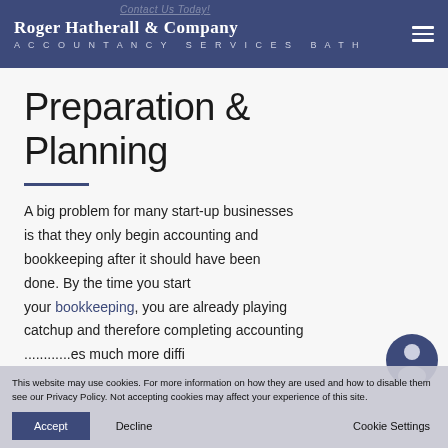Roger Hatherall & Company Accountancy Services Bath
Preparation & Planning
A big problem for many start-up businesses is that they only begin accounting and bookkeeping after it should have been done. By the time you start your bookkeeping, you are already playing catchup and therefore completing accounting tasks becomes much more diffi...
This website may use cookies. For more information on how they are used and how to disable them see our Privacy Policy. Not accepting cookies may affect your experience of this site.